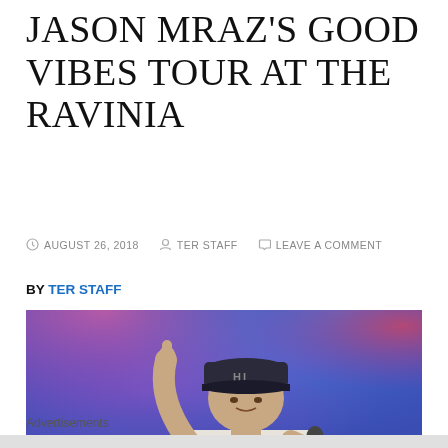JASON MRAZ'S GOOD VIBES TOUR AT THE RAVINIA
AUGUST 26, 2018   TER STAFF   LEAVE A COMMENT
BY TER STAFF
[Figure (photo): Jason Mraz performing on stage, holding a microphone and pointing upward, wearing a cap with 'HI' on it, colorful stage lighting in blues and pinks behind him]
Advertisements